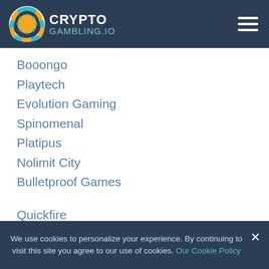CryptoGambling.io
Booongo
Playtech
Evolution Gaming
Spinomenal
Platipus
Nolimit City
Bulletproof Games
Quickfire
Relax Gaming
Big Time Gaming
Pragmatic Play
Isoftbet
Evoplay
We use cookies to personalize your experience. By continuing to visit this site you agree to our use of cookies. Our Cookie Policy